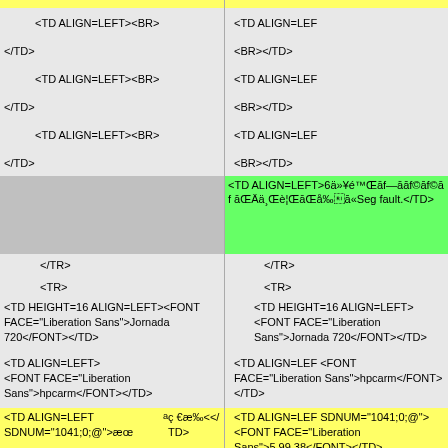<TD ALIGN=LEFT><BR>
</TD>
<BR></TD>
<TD ALIGN=LEFT><BR>
<TD ALIGN=LEFT><BR>
</TD>
<BR></TD>
<TD ALIGN=LEFT><BR>
</TD>
<BR></TD>
<TD ALIGN=LEFT>6ä»¥é™ā€āf—āf©āf©āf āŒÄä¸è¦āå‰ā«Seg fault.</TD>
</TR>
<TR>
</TR>
<TR>
<TD HEIGHT=16 ALIGN=LEFT><FONT FACE="Liberation Sans">Jornada 720</FONT></TD>
<TD HEIGHT=16 ALIGN=LEFT><FONT FACE="Liberation Sans">Jornada 720</FONT></TD>
<TD ALIGN=LEFT><FONT FACE="Liberation Sans">hpcarm</FONT></TD>
<TD ALIGN=LEFT><FONT FACE="Liberation Sans">hpcarm</FONT></TD>
<TD ALIGN=LEFT SDNUM="1041;0;@">æœªç€æ‰<</TD>
<TD ALIGN=LEFT SDNUM="1041;0;@"><FONT FACE="Liberation Sans">5.99.38</FONT></TD>
<TD ALIGN=LEFT SDNUM="1041;0;@"><BR></TD>
<TD ALIGN=LEFT SDNUM="1041;0;@"><BR></TD>
<TD ALIGN=LEFT SDNUM="1041;0;@"><BR></TD>
<TD ALIGN=LEFT SDNUM="1041;0;@"><BR></TD>
<TD ALIGN=LEFT SDNUM="1041;0;@"><BR></TD>
<TD ALIGN=LEFT SDNUM="1041;0;@"><BR></TD>